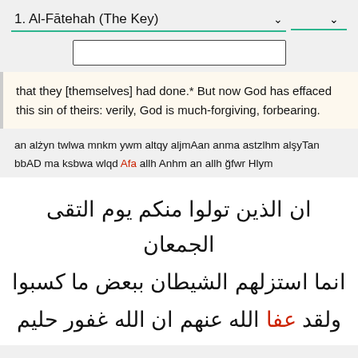1. Al-Fātehah (The Key)
that they [themselves] had done.* But now God has effaced this sin of theirs: verily, God is much-forgiving, forbearing.
an alżyn twlwa mnkm ywm altqy aljmAan anma astzlhm alşyTan bbAD ma ksbwa wlqd Afa allh Anhm an allh ğfwr Hlym
ان الذين تولوا منكم يوم التقى الجمعان انما استزلهم الشيطان ببعض ما كسبوا ولقد عفا الله عنهم ان الله غفور حليم